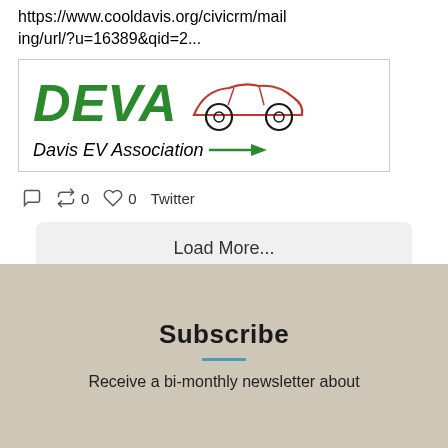https://www.cooldavis.org/civicrm/mailing/url/?u=16389&qid=2...
[Figure (logo): DEVA Davis EV Association logo with stylized green italic text and red car outline with electric plug graphic]
0  0  Twitter
Load More...
Subscribe
Receive a bi-monthly newsletter about